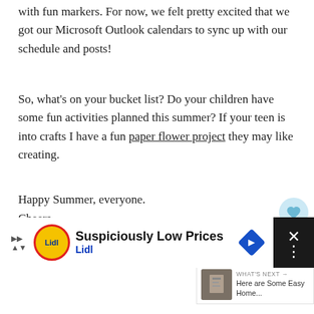with fun markers. For now, we felt pretty excited that we got our Microsoft Outlook calendars to sync up with our schedule and posts!
So, what's on your bucket list? Do your children have some fun activities planned this summer? If your teen is into crafts I have a fun paper flower project they may like creating.
Happy Summer, everyone.
Cheers,
[Figure (illustration): Handwritten cursive signature reading 'janine' in light gray]
[Figure (screenshot): WHAT'S NEXT arrow label with thumbnail image and text 'Here are Some Easy Home...']
[Figure (infographic): Lidl advertisement bar at bottom: 'Suspiciously Low Prices' with Lidl logo and blue diamond road sign icon, close button on right]